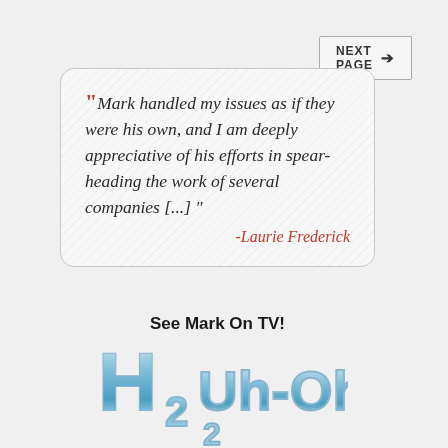NEXT PAGE →
“Mark handled my issues as if they were his own, and I am deeply appreciative of his efforts in spear-heading the work of several companies [...] ” -Laurie Frederick
See Mark On TV!
[Figure (logo): H2Oh! TV show logo with water-filled letters]